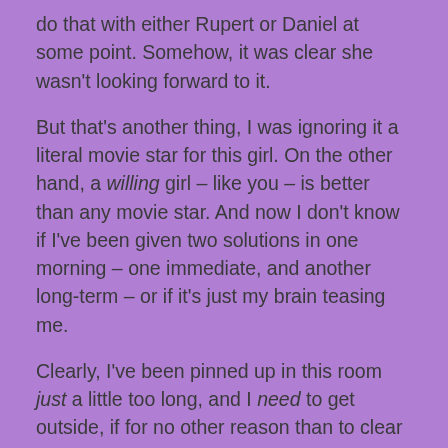do that with either Rupert or Daniel at some point. Somehow, it was clear she wasn't looking forward to it.
But that's another thing, I was ignoring it a literal movie star for this girl. On the other hand, a willing girl – like you – is better than any movie star. And now I don't know if I've been given two solutions in one morning – one immediate, and another long-term – or if it's just my brain teasing me.
Clearly, I've been pinned up in this room just a little too long, and I need to get outside, if for no other reason than to clear my head. I wish it could be real, but I dare say I know better than that. Still, it was a lovely dream. Do I thank you, or Him?
Anyway, regardless, wish me luck. Time to get out there